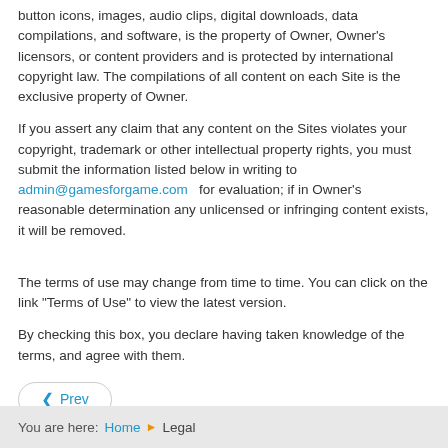button icons, images, audio clips, digital downloads, data compilations, and software, is the property of Owner, Owner's licensors, or content providers and is protected by international copyright law. The compilations of all content on each Site is the exclusive property of Owner.
If you assert any claim that any content on the Sites violates your copyright, trademark or other intellectual property rights, you must submit the information listed below in writing to admin@gamesforgame.com   for evaluation; if in Owner's reasonable determination any unlicensed or infringing content exists, it will be removed.
The terms of use may change from time to time. You can click on the link "Terms of Use" to view the latest version.
By checking this box, you declare having taken knowledge of the terms, and agree with them.
[Figure (other): Prev navigation button with left arrow icon]
You are here: Home > Legal